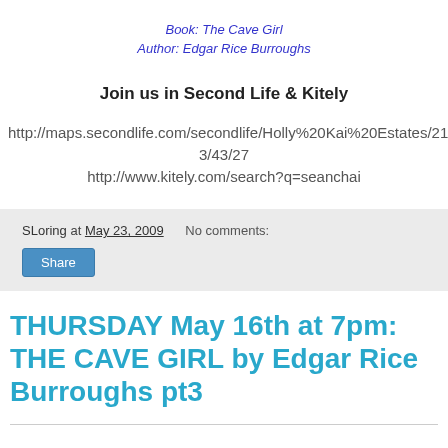Book: The Cave Girl
Author: Edgar Rice Burroughs
Join us in Second Life & Kitely
http://maps.secondlife.com/secondlife/Holly%20Kai%20Estates/213/43/27
http://www.kitely.com/search?q=seanchai
SLoring at May 23, 2009   No comments:
Share
THURSDAY May 16th at 7pm: THE CAVE GIRL by Edgar Rice Burroughs pt3